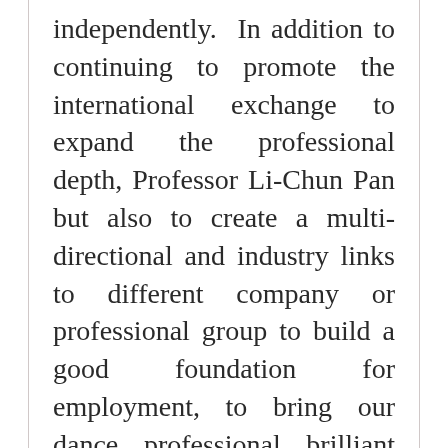independently. In addition to continuing to promote the international exchange to expand the professional depth, Professor Li-Chun Pan but also to create a multi-directional and industry links to different company or professional group to build a good foundation for employment, to bring our dance professional brilliant achievements worldwide.
PROGRAM
The school is located at Taichung City," the "double ten basins Culture Sports Park", is